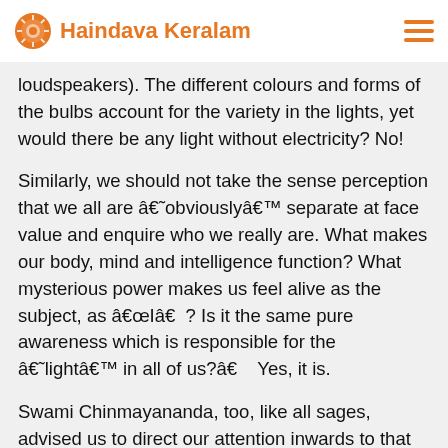Haindava Keralam
loudspeakers). The different colours and forms of the bulbs account for the variety in the lights, yet would there be any light without electricity? No!
Similarly, we should not take the sense perception that we all are â€˜obviouslyâ€™ separate at face value and enquire who we really are. What makes our body, mind and intelligence function? What mysterious power makes us feel alive as the subject, as â€œIâ€  ? Is it the same pure awareness which is responsible for the â€˜lightâ€™ in all of us?â€    Yes, it is.
Swami Chinmayananda, too, like all sages, advised us to direct our attention inwards to that essence that alone is absolutely true. He advised to meditate on that mysterious OM